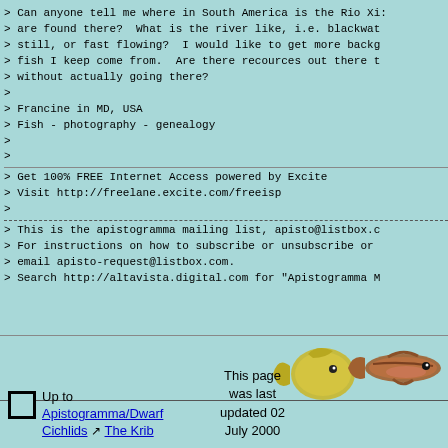> Can anyone tell me where in South America is the Rio Xi:
> are found there?  What is the river like, i.e. blackwat
> still, or fast flowing?  I would like to get more backg
> fish I keep come from.  Are there recources out there t
> without actually going there?
>
> Francine in MD, USA
> Fish - photography - genealogy
>
>
> Get 100% FREE Internet Access powered by Excite
> Visit http://freelane.excite.com/freeisp
>
> This is the apistogramma mailing list, apisto@listbox.c
> For instructions on how to subscribe or unsubscribe or
> email apisto-request@listbox.com.
> Search http://altavista.digital.com for "Apistogramma M
Up to
Apistogramma/Dwarf Cichlids ↗ The Krib
This page was last updated 02 July 2000